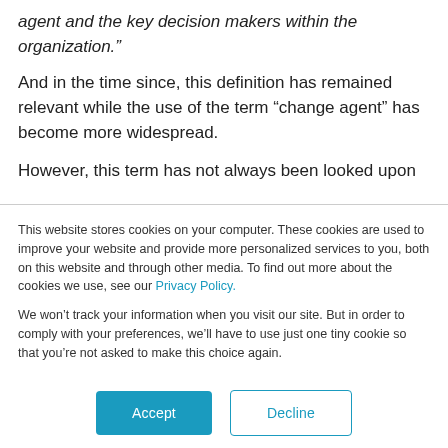agent and the key decision makers within the organization.”
And in the time since, this definition has remained relevant while the use of the term “change agent” has become more widespread.
However, this term has not always been looked upon
This website stores cookies on your computer. These cookies are used to improve your website and provide more personalized services to you, both on this website and through other media. To find out more about the cookies we use, see our Privacy Policy.
We won’t track your information when you visit our site. But in order to comply with your preferences, we’ll have to use just one tiny cookie so that you’re not asked to make this choice again.
Accept
Decline